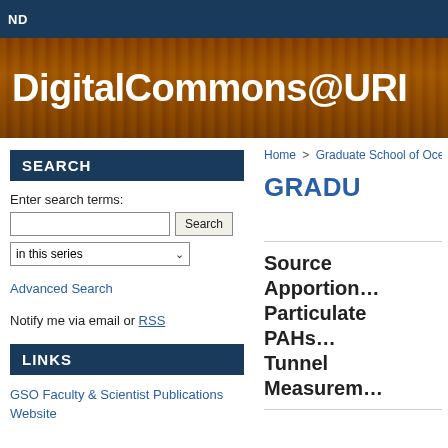ND
[Figure (screenshot): DigitalCommons@URI banner with dark brown/amber vertical lines background and white bold text]
SEARCH
Enter search terms:
in this series
Advanced Search
Notify me via email or RSS
LINKS
GSO Faculty & Scientist Publications Website
Home > Graduate School of Ocea...
GRADU
Source Apportion... Particulate PAHs... Tunnel Measurem...